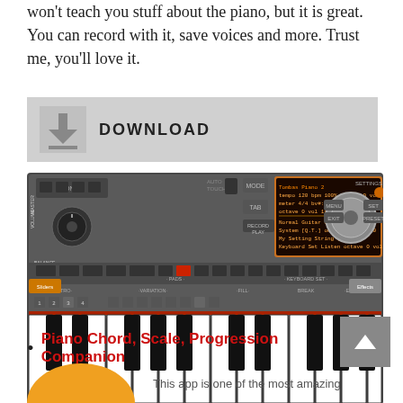won't teach you stuff about the piano, but it is great. You can record with it, save voices and more. Trust me, you'll love it.
[Figure (screenshot): Download button box with download icon and the word DOWNLOAD in bold uppercase letters, followed by a screenshot of a digital piano/keyboard synthesizer app interface showing keys, pads, sliders, and a display screen.]
Piano Chord, Scale, Progression Companion
[Figure (illustration): Orange arc/semi-circle at the bottom left, partial image of a piano/keyboard instrument]